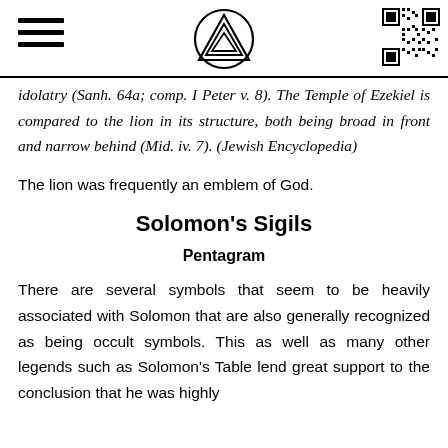[hamburger menu icon] [logo: triangle/mountain symbol] [QR code]
idolatry (Sanh. 64a; comp. I Peter v. 8). The Temple of Ezekiel is compared to the lion in its structure, both being broad in front and narrow behind (Mid. iv. 7). (Jewish Encyclopedia)
The lion was frequently an emblem of God.
Solomon's Sigils
Pentagram
There are several symbols that seem to be heavily associated with Solomon that are also generally recognized as being occult symbols. This as well as many other legends such as Solomon's Table lend great support to the conclusion that he was highly